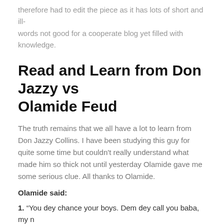therefore had to edit the piece as it has lots of short and ill-words not good for a cooperate blog yet filled with knowledge.
Read and Learn from Don Jazzy vs Olamide Feud
The truth remains that we all have a lot to learn from Don Jazzy Collins. I have been studying this guy for quite some time but couldn't really understand what made him so thick not until yesterday Olamide gave me some serious clue. All thanks to Olamide.
Olamide said:
1. “You dey chance your boys. Dem dey call you baba, my n—-s call me brother”